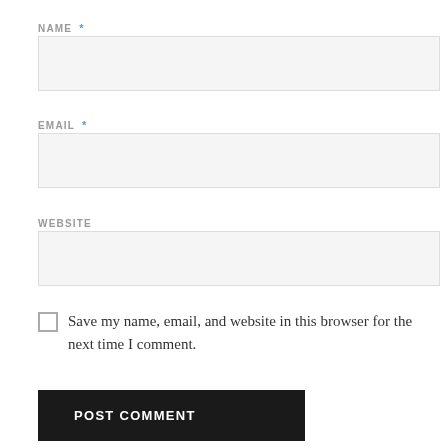NAME *
[Figure (other): Empty text input field for Name]
EMAIL *
[Figure (other): Empty text input field for Email]
WEBSITE
[Figure (other): Empty text input field for Website]
Save my name, email, and website in this browser for the next time I comment.
POST COMMENT